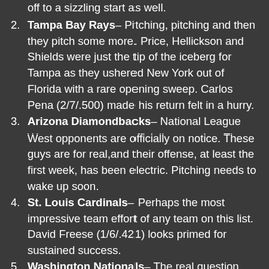(partial) off to a sizzling start as well.
Tampa Bay Rays– Pitching, pitching and then they pitch some more. Price, Hellickson and Shields were just the tip of the iceberg for Tampa as they ushered New York out of Florida with a rare opening sweep. Carlos Pena (2/7/.500) made his return felt in a hurry.
Arizona Diamondbacks– National League West opponents are officially on notice. These guys are for real,and their offense, at least the first week, has been electric. Pitching needs to wake up soon.
St. Louis Cardinals– Perhaps the most impressive team effort of any team on this list. David Freese (1/6/.421) looks primed for sustained success.
Washington Nationals– The real question here isn't why are they ranked so high. The real (cut off)